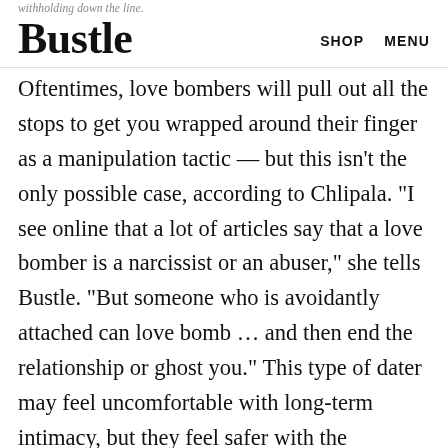withholding down the line. Bustle SHOP MENU
Oftentimes, love bombers will pull out all the stops to get you wrapped around their finger as a manipulation tactic — but this isn't the only possible case, according to Chlipala. “I see online that a lot of articles say that a love bomber is a narcissist or an abuser,” she tells Bustle. “But someone who is avoidantly attached can love bomb … and then end the relationship or ghost you.” This type of dater may feel uncomfortable with long-term intimacy, but they feel safer with the infatuation from the very start of dating. “They get swept up in their feelings and usually have a fairytale idea of the beginning of a relationship … [then] they dump you back on the